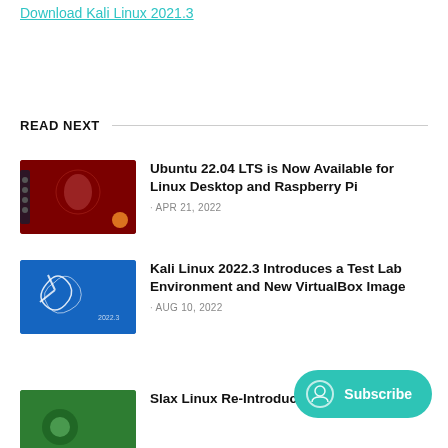Download Kali Linux 2021.3
READ NEXT
Ubuntu 22.04 LTS is Now Available for Linux Desktop and Raspberry Pi · APR 21, 2022
Kali Linux 2022.3 Introduces a Test Lab Environment and New VirtualBox Image · AUG 10, 2022
Slax Linux Re-Introduces a Slackware
Subscribe